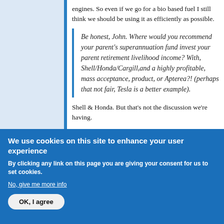engines. So even if we go for a bio based fuel I still think we should be using it as efficiently as possible.
Be honest, John. Where would you recommend your parent's superannuation fund invest your parent retirement livelihood income? With, Shell/Honda/Cargill,and a highly profitable, mass acceptance, product, or Apterea?! (perhaps that not fair, Tesla is a better example).
Shell & Honda. But that's not the discussion we're having.
We use cookies on this site to enhance your user experience
By clicking any link on this page you are giving your consent for us to set cookies.
No, give me more info
OK, I agree